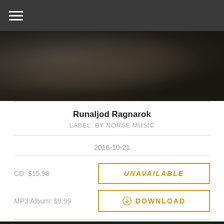[Figure (screenshot): Dark navigation bar with hamburger menu icon]
[Figure (photo): Dark textured album banner image with smoky/grungy appearance]
Runaljod Ragnarok
LABEL: BY NORSE MUSIC
2016-10-21
CD: $15.98
UNAVAILABLE
MP3 Album: $9.99
⊕ DOWNLOAD
[Figure (photo): Dark green-tinted textured album banner image at bottom]